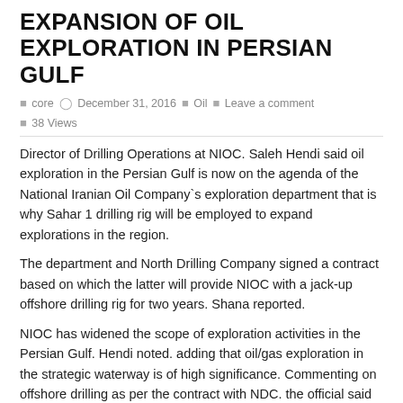EXPANSION OF OIL EXPLORATION IN PERSIAN GULF
core   December 31, 2016   Oil   Leave a comment   38 Views
Director of Drilling Operations at NIOC. Saleh Hendi said oil exploration in the Persian Gulf is now on the agenda of the National Iranian Oil Company`s exploration department that is why Sahar 1 drilling rig will be employed to expand explorations in the region.
The department and North Drilling Company signed a contract based on which the latter will provide NIOC with a jack-up offshore drilling rig for two years. Shana reported.
NIOC has widened the scope of exploration activities in the Persian Gulf. Hendi noted. adding that oil/gas exploration in the strategic waterway is of high significance. Commenting on offshore drilling as per the contract with NDC. the official said plans are in place to drill at depths of 1.350 meters up to 2.000 meters.
Initially. one well will be drilled in one of the joint oilfields in the